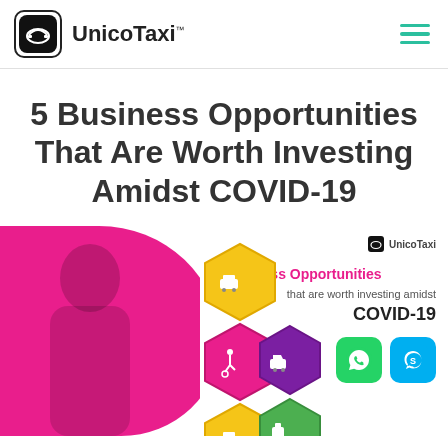UnicoTaxi™
5 Business Opportunities That Are Worth Investing Amidst COVID-19
[Figure (infographic): Infographic showing '5 Business Opportunities that are worth investing amidst COVID-19' with hexagonal icons for taxi, wheelchair accessible, car, food delivery services, and social media contact icons (WhatsApp, Skype). Pink/magenta background on left with person silhouette, UnicoTaxi branding on right.]